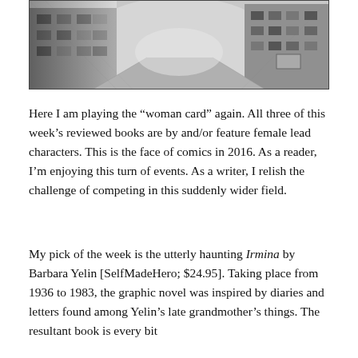[Figure (illustration): A pencil/charcoal sketch illustration of a city street scene viewed from above at an angle, showing buildings with windows and a street below, rendered in grayscale with heavy shading.]
Here I am playing the “woman card” again. All three of this week’s reviewed books are by and/or feature female lead characters. This is the face of comics in 2016. As a reader, I’m enjoying this turn of events. As a writer, I relish the challenge of competing in this suddenly wider field.
My pick of the week is the utterly haunting Irmina by Barbara Yelin [SelfMadeHero; $24.95]. Taking place from 1936 to 1983, the graphic novel was inspired by diaries and letters found among Yelin’s late grandmother’s things. The resultant book is every bit